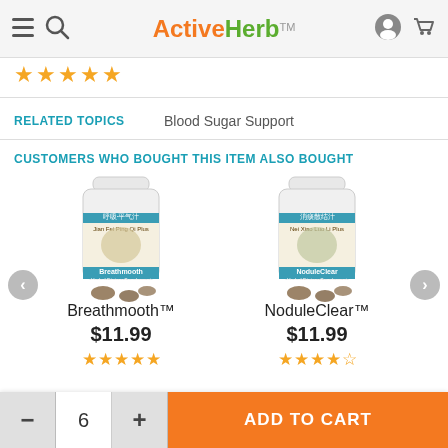ActiveHerb
[Figure (other): Five orange star rating icons]
RELATED TOPICS   Blood Sugar Support
CUSTOMERS WHO BOUGHT THIS ITEM ALSO BOUGHT
[Figure (photo): Breathmooth herbal dietary supplement bottle]
Breathmooth™
$11.99
★★★★★
[Figure (photo): NoduleClear herbal dietary supplement bottle]
NoduleClear™
$11.99
★★★★½
- 6 +  ADD TO CART